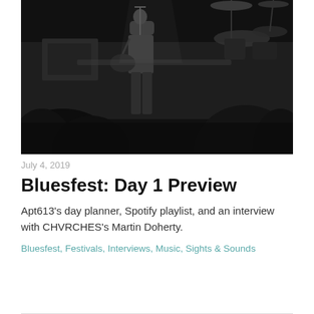[Figure (photo): Black and white concert photo showing a musician on stage with guitar, drum kit visible in background right, audience silhouettes in foreground]
July 4, 2019
Bluesfest: Day 1 Preview
Apt613's day planner, Spotify playlist, and an interview with CHVRCHES's Martin Doherty.
Bluesfest, Festivals, Interviews, Music, Sights & Sounds